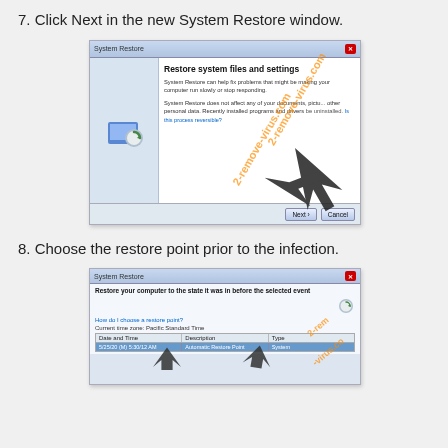7. Click Next in the new System Restore window.
[Figure (screenshot): Windows System Restore dialog showing 'Restore system files and settings' with Next and Cancel buttons, overlaid with 2-remove-virus.com watermark]
8. Choose the restore point prior to the infection.
[Figure (screenshot): Windows System Restore dialog showing restore point selection screen with a table listing Date and Time, Description, Type columns and an Automatic Restore Point row highlighted, overlaid with 2-remove-virus.com watermark]